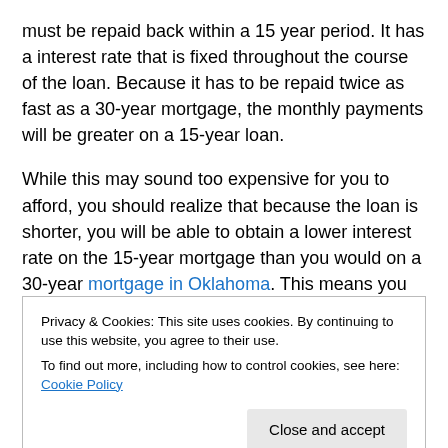must be repaid back within a 15 year period. It has a interest rate that is fixed throughout the course of the loan. Because it has to be repaid twice as fast as a 30-year mortgage, the monthly payments will be greater on a 15-year loan.
While this may sound too expensive for you to afford, you should realize that because the loan is shorter, you will be able to obtain a lower interest rate on the 15-year mortgage than you would on a 30-year mortgage in Oklahoma. This means you will pay less interest over the
Privacy & Cookies: This site uses cookies. By continuing to use this website, you agree to their use.
To find out more, including how to control cookies, see here: Cookie Policy